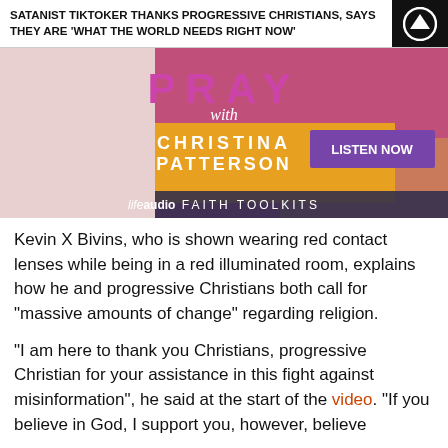SATANIST TIKTOKER THANKS PROGRESSIVE CHRISTIANS, SAYS THEY ARE 'WHAT THE WORLD NEEDS RIGHT NOW'
[Figure (illustration): Advertisement banner for 'Pray with Christina Patterson' podcast on lifeaudio Faith Toolkits, featuring a woman in a pink top writing, with purple 'LISTEN NOW' button and orange/yellow branding.]
Kevin X Bivins, who is shown wearing red contact lenses while being in a red illuminated room, explains how he and progressive Christians both call for “massive amounts of change” regarding religion.
“I am here to thank you Christians, progressive Christian for your assistance in this fight against misinformation”, he said at the start of the video. “If you believe in God, I support you, however, believe